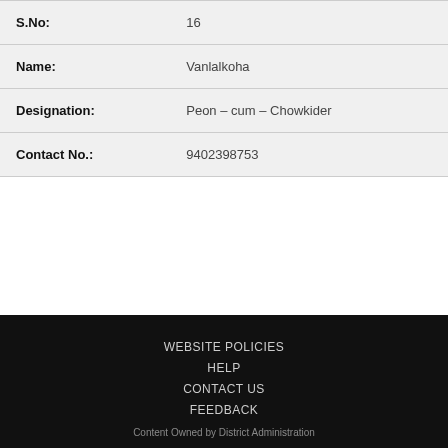| S.No: | 16 |
| Name: | Vanlalkoha |
| Designation: | Peon – cum – Chowkider |
| Contact No.: | 9402398753 |
WEBSITE POLICIES
HELP
CONTACT US
FEEDBACK
Content Owned by District Administration